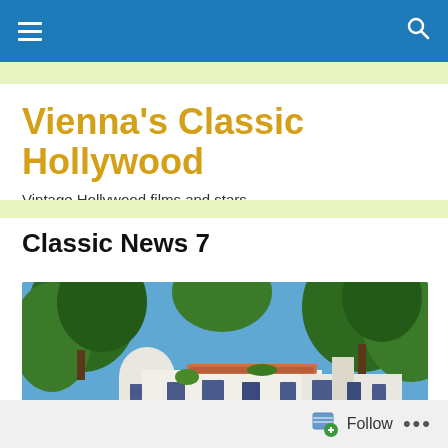Vienna's Classic Hollywood
Vintage Hollywood films and stars
Classic News 7
[Figure (photo): A white Spanish-style ranch house with red tile roof accents, surrounded by lush green lawn, mature trees, and flowering plants under a blue sky.]
Follow